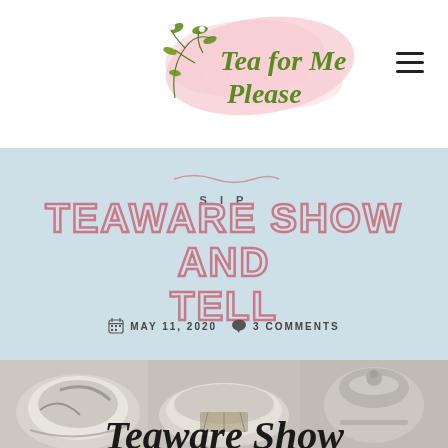[Figure (logo): Tea for Me Please blog logo with pink watercolor splash background and green floral illustration. Script text reads 'Tea for Me Please' in green italic font.]
SIP
TEAWARE SHOW AND TELL
MAY 11, 2020   3 COMMENTS
[Figure (photo): Three ceramic teaware pieces: a rustic white and dark handmade bowl on the left, a stoneware bowl with decorative pattern in the center, and a rough-textured teapot lid/teapot on the right.]
Teaware Show